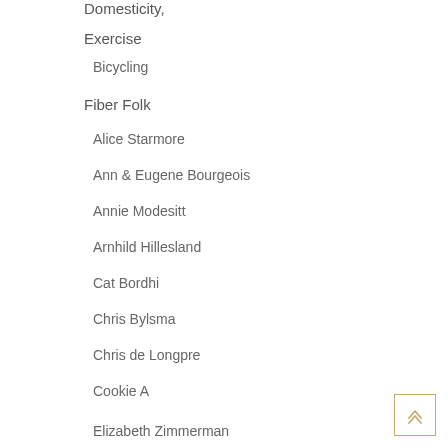Domesticity,
Exercise
Bicycling
Fiber Folk
Alice Starmore
Ann & Eugene Bourgeois
Annie Modesitt
Arnhild Hillesland
Cat Bordhi
Chris Bylsma
Chris de Longpre
Cookie A
Elizabeth Zimmerman